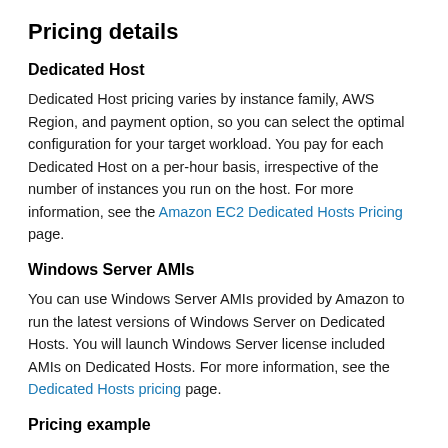Pricing details
Dedicated Host
Dedicated Host pricing varies by instance family, AWS Region, and payment option, so you can select the optimal configuration for your target workload. You pay for each Dedicated Host on a per-hour basis, irrespective of the number of instances you run on the host. For more information, see the Amazon EC2 Dedicated Hosts Pricing page.
Windows Server AMIs
You can use Windows Server AMIs provided by Amazon to run the latest versions of Windows Server on Dedicated Hosts. You will launch Windows Server license included AMIs on Dedicated Hosts. For more information, see the Dedicated Hosts pricing page.
Pricing example
If you have a SQL Server license for 32 cores, and you use an r5